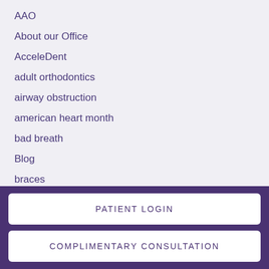AAO
About our Office
AcceleDent
adult orthodontics
airway obstruction
american heart month
bad breath
Blog
braces
braces friendly food
braces-friendly recipes
PATIENT LOGIN
COMPLIMENTARY CONSULTATION